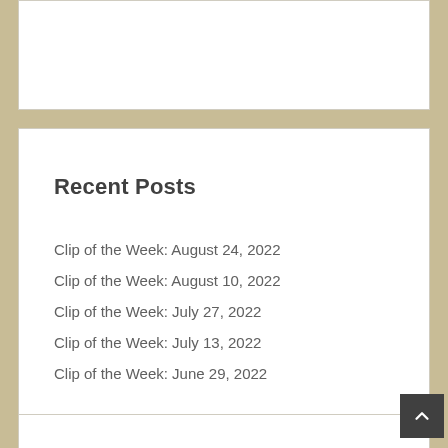Recent Posts
Clip of the Week: August 24, 2022
Clip of the Week: August 10, 2022
Clip of the Week: July 27, 2022
Clip of the Week: July 13, 2022
Clip of the Week: June 29, 2022